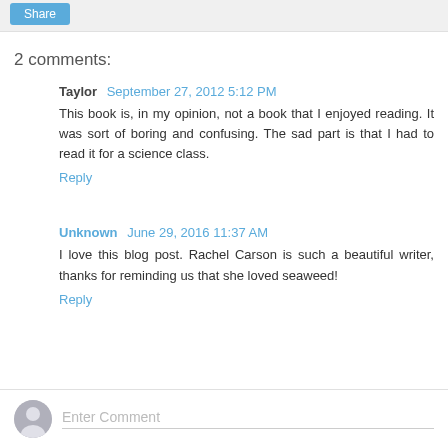2 comments:
Taylor  September 27, 2012 5:12 PM
This book is, in my opinion, not a book that I enjoyed reading. It was sort of boring and confusing. The sad part is that I had to read it for a science class.
Reply
Unknown  June 29, 2016 11:37 AM
I love this blog post. Rachel Carson is such a beautiful writer, thanks for reminding us that she loved seaweed!
Reply